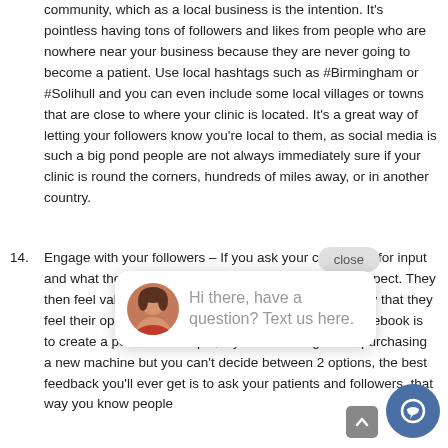community, which as a local business is the intention. It's pointless having tons of followers and likes from people who are nowhere near your business because they are never going to become a patient. Use local hashtags such as #Birmingham or #Solihull and you can even include some local villages or towns that are close to where your clinic is located. It's a great way of letting your followers know you're local to them, as social media is such a big pond people are not always immediately sure if your clinic is round the corners, hundreds of miles away, or in another country.
14. Engage with your followers – If you ask your customers for input and what they think, this shows you care and they'll respect. They then feel valued and are likely to recommend you highly that they feel their opinion matters. A great way to do this on Facebook is to create a poll. For example, if you're thinking about purchasing a new machine but you can't decide between 2 options, the best feedback you'll ever get is to ask your patients and followers, that way you know people
[Figure (other): Chat widget overlay with close button, avatar of a woman, text 'Hi there, have a question? Text us here.', a blue chat icon button, and a grey scroll-to-top button.]